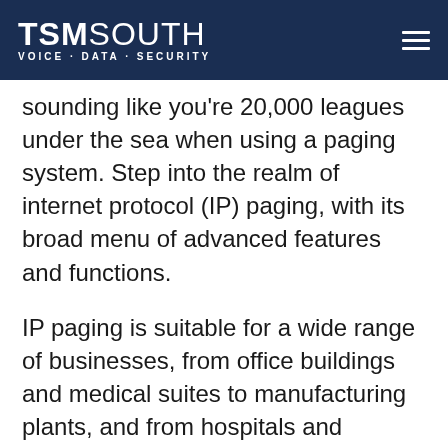TSM SOUTH VOICE · DATA · SECURITY
sounding like you're 20,000 leagues under the sea when using a paging system. Step into the realm of internet protocol (IP) paging, with its broad menu of advanced features and functions.
IP paging is suitable for a wide range of businesses, from office buildings and medical suites to manufacturing plants, and from hospitals and schools to automobile dealerships.  No matter the venue, the results are always the same: improved productivity and better cost